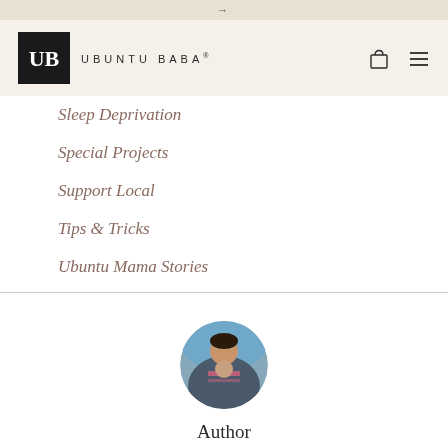→
[Figure (logo): Ubuntu Baba logo — black square with UB monogram and brand name text, plus shopping bag and hamburger menu icons]
Sleep Deprivation
Special Projects
Support Local
Tips & Tricks
Ubuntu Mama Stories
[Figure (photo): Circular profile photo of a woman and child, appearing to be a mother and baby in a carrier]
Author